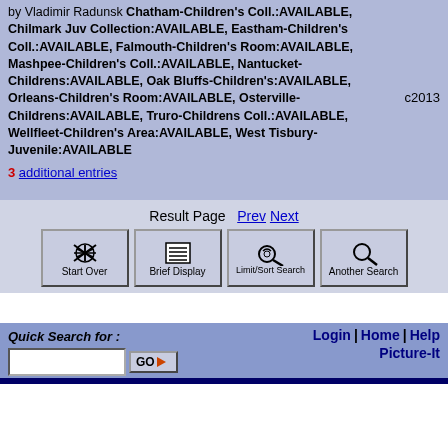by Vladimir Radunsk Chatham-Children's Coll.:AVAILABLE, Chilmark Juv Collection:AVAILABLE, Eastham-Children's Coll.:AVAILABLE, Falmouth-Children's Room:AVAILABLE, Mashpee-Children's Coll.:AVAILABLE, Nantucket-Childrens:AVAILABLE, Oak Bluffs-Children's:AVAILABLE, Orleans-Children's Room:AVAILABLE, Osterville-Childrens:AVAILABLE, Truro-Childrens Coll.:AVAILABLE, Wellfleet-Children's Area:AVAILABLE, West Tisbury-Juvenile:AVAILABLE   c2013
3 additional entries
Result Page  Prev  Next
[Figure (screenshot): Four navigation buttons: Start Over, Brief Display, Limit/Sort Search, Another Search]
Quick Search for :
Login | Home | Help  Picture-It